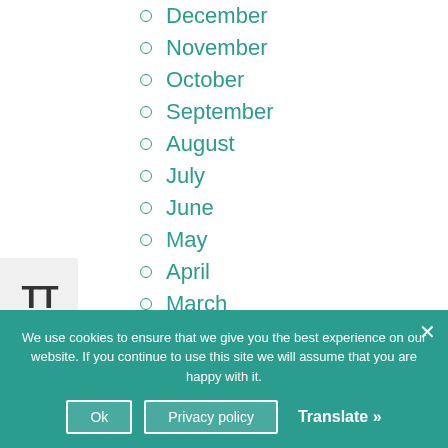December
November
October
September
August
July
June
May
April
March
February
January
[+] 2020
We use cookies to ensure that we give you the best experience on our website. If you continue to use this site we will assume that you are happy with it.